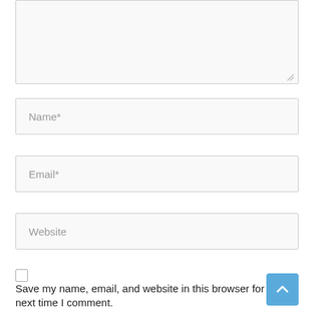[Figure (screenshot): Textarea input box (empty, resizable) at top of page]
Name*
Email*
Website
Save my name, email, and website in this browser for the next time I comment.